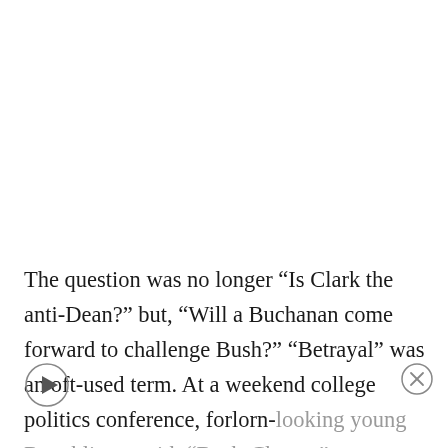The question was no longer “Is Clark the anti-Dean?” but, “Will a Buchanan come forward to challenge Bush?” “Betrayal” was an oft-used term. At a weekend college politics conference, forlorn-looking young Republicans with “Bush-Cheney”